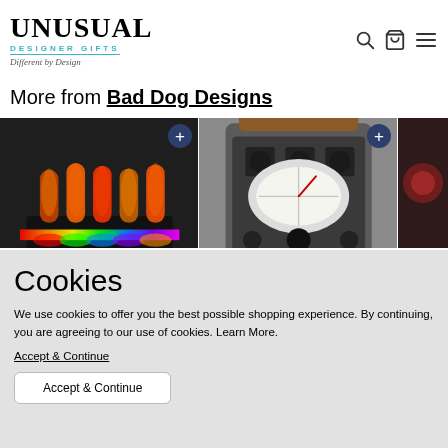UNUSUAL DESIGNER GIFTS — Different by Design
More from Bad Dog Designs
[Figure (photo): Nixie tube clock with colorful glowing tubes on a black base with rainbow LED underglow]
[Figure (photo): Vintage-style radio or clock device with round gauges and wooden top handle, retro aesthetic]
[Figure (photo): Partially visible third product with dark reddish background]
Cookies
We use cookies to offer you the best possible shopping experience. By continuing, you are agreeing to our use of cookies. Learn More.
Accept & Continue
Accept & Continue